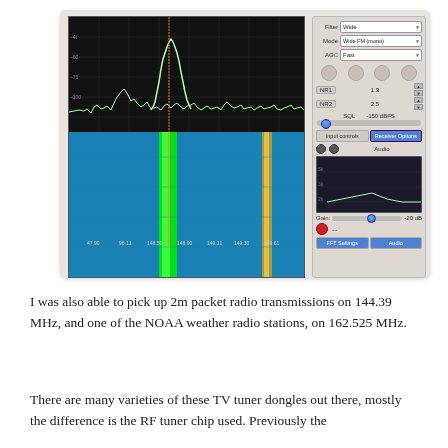[Figure (screenshot): SDR (Software Defined Radio) application screenshot showing a spectrum analyzer display with waterfall plot. The left portion shows a spectrum display (top) and waterfall display (bottom) with strong signals visible as bright green vertical lines. The right panel shows receiver controls including Filter (Wide), Mode (Wide FM mono), AGC (Fast), NR1/NR2 settings, SQL at -150 dBFS, receiver options tabs, audio spectrum display, and Gain at -20 dB.]
I was also able to pick up 2m packet radio transmissions on 144.39 MHz, and one of the NOAA weather radio stations, on 162.525 MHz.
There are many varieties of these TV tuner dongles out there, mostly the difference is the RF tuner chip used. Previously the